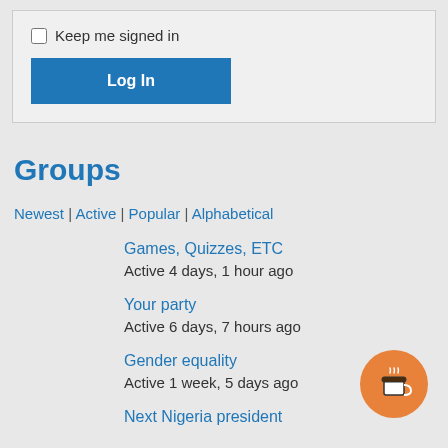[Figure (screenshot): Login form with checkbox 'Keep me signed in' and a blue 'Log In' button]
Groups
Newest | Active | Popular | Alphabetical
Games, Quizzes, ETC
Active 4 days, 1 hour ago
Your party
Active 6 days, 7 hours ago
Gender equality
Active 1 week, 5 days ago
Next Nigeria president